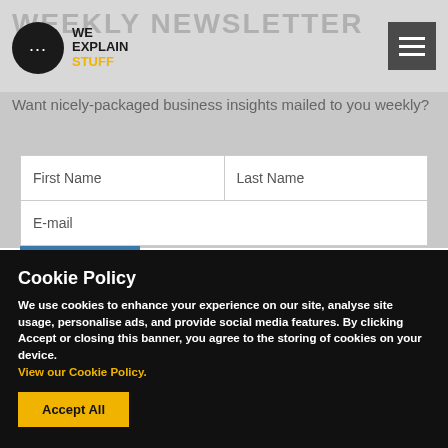WEEKLY NEWSLETTER
[Figure (logo): We Explain Stuff logo: dark circle with ellipsis icon, text WE EXPLAIN STUFF beside it]
Want nicely-packaged business insights mailed to you weekly?
| First Name | Last Name |
| --- | --- |
| E-mail |  |
Cookie Policy
We use cookies to enhance your experience on our site, analyse site usage, personalise ads, and provide social media features. By clicking Accept or closing this banner, you agree to the storing of cookies on your device. View our Cookie Policy.
Accept All